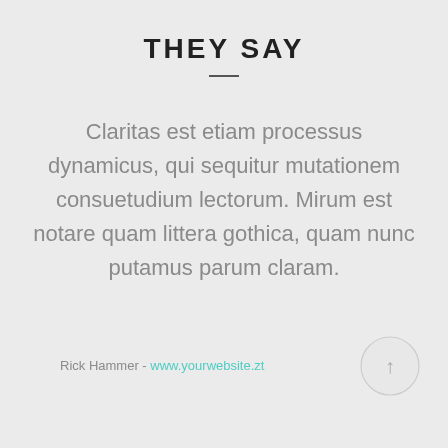THEY SAY
Claritas est etiam processus dynamicus, qui sequitur mutationem consuetudium lectorum. Mirum est notare quam littera gothica, quam nunc putamus parum claram.
Rick Hammer - www.yourwebsite.zt
[Figure (illustration): Circular scroll-to-top button with an upward arrow icon, light gray background with darker gray border]